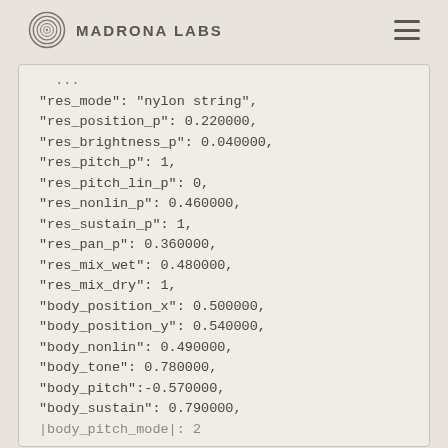Madrona Labs
"res_mode": "nylon string",
"res_position_p": 0.220000,
"res_brightness_p": 0.040000,
"res_pitch_p": 1,
"res_pitch_lin_p": 0,
"res_nonlin_p": 0.460000,
"res_sustain_p": 1,
"res_pan_p": 0.360000,
"res_mix_wet": 0.480000,
"res_mix_dry": 1,
"body_position_x": 0.500000,
"body_position_y": 0.540000,
"body_nonlin": 0.490000,
"body_tone": 0.780000,
"body_pitch":-0.570000,
"body_sustain": 0.790000,
"body_pitch_mode": 2